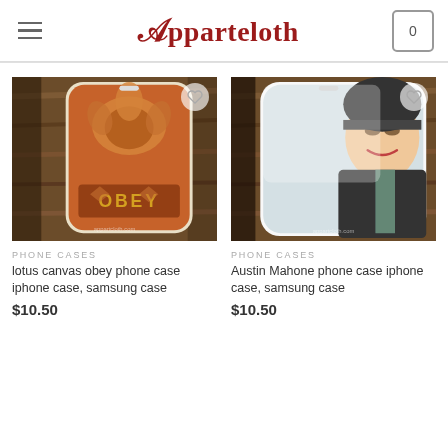Apparteloth
[Figure (photo): Product photo of lotus canvas obey phone case on wooden surface]
PHONE CASES
lotus canvas obey phone case iphone case, samsung case
$10.50
[Figure (photo): Product photo of Austin Mahone phone case iphone case on wooden surface]
PHONE CASES
Austin Mahone phone case iphone case, samsung case
$10.50